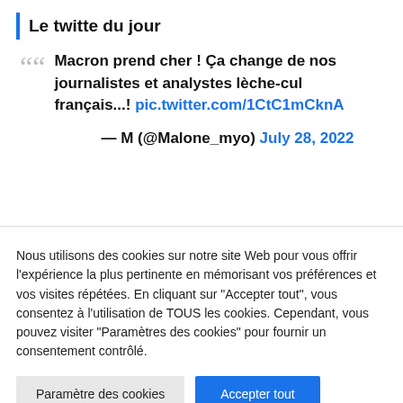Le twitte du jour
Macron prend cher ! Ça change de nos journalistes et analystes lèche-cul français...! pic.twitter.com/1CtC1mCknA
— M (@Malone_myo) July 28, 2022
Nous utilisons des cookies sur notre site Web pour vous offrir l'expérience la plus pertinente en mémorisant vos préférences et vos visites répétées. En cliquant sur "Accepter tout", vous consentez à l'utilisation de TOUS les cookies. Cependant, vous pouvez visiter "Paramètres des cookies" pour fournir un consentement contrôlé.
Paramètre des cookies | Accepter tout